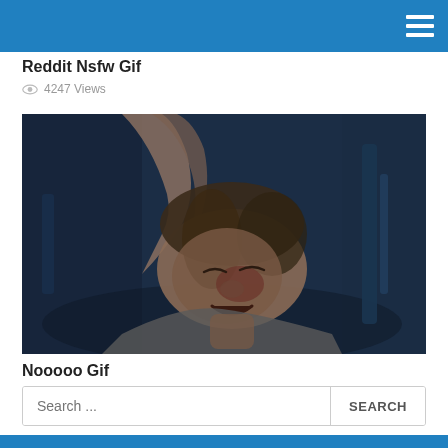Reddit Nsfw Gif
4247 Views
[Figure (photo): A distressed male figure with brown hair reaching upward, face showing anguish or pain, in a dark blue-toned cinematic scene.]
Nooooo Gif
1499 Views
Search ...  SEARCH